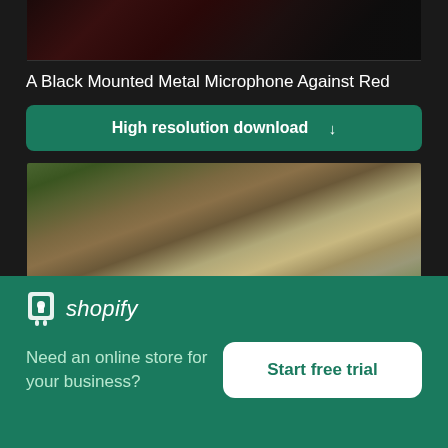[Figure (photo): Top portion of a photo showing a black mounted metal microphone against a red background, partially cropped]
A Black Mounted Metal Microphone Against Red
High resolution download ↓
[Figure (photo): Photo of rocks with moss and vegetation, outdoor nature scene]
[Figure (logo): Shopify logo with shopping bag icon and italic shopify text]
Need an online store for your business?
Start free trial